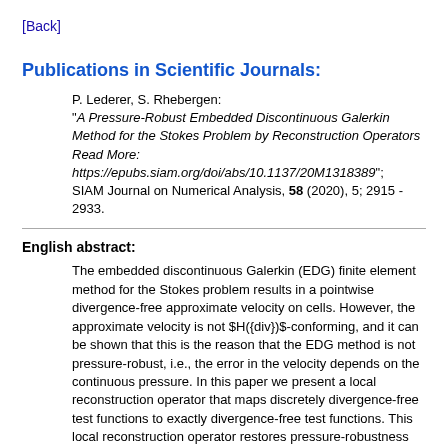[Back]
Publications in Scientific Journals:
P. Lederer, S. Rhebergen:
"A Pressure-Robust Embedded Discontinuous Galerkin Method for the Stokes Problem by Reconstruction Operators Read More: https://epubs.siam.org/doi/abs/10.1137/20M1318389";
SIAM Journal on Numerical Analysis, 58 (2020), 5; 2915 - 2933.
English abstract:
The embedded discontinuous Galerkin (EDG) finite element method for the Stokes problem results in a pointwise divergence-free approximate velocity on cells. However, the approximate velocity is not $H({div})$-conforming, and it can be shown that this is the reason that the EDG method is not pressure-robust, i.e., the error in the velocity depends on the continuous pressure. In this paper we present a local reconstruction operator that maps discretely divergence-free test functions to exactly divergence-free test functions. This local reconstruction operator restores pressure-robustness by only changing the right-hand side of the discretization, similar to the reconstruction operator recently introduced for the Taylor--Hood and mini elements by Lederer et al. [SIAM J. Numer. Anal., 55 (2017), pp. 1291--1314]. We present an a priori error analysis of the discretization showing optimal convergence rates and pressure-robustness of the velocity error. These results are verified by numerical examples